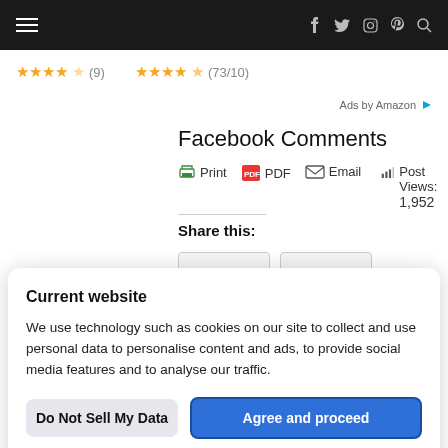Navigation bar with hamburger menu and social icons (Facebook, Twitter, Instagram, Pinterest, Search)
[Figure (screenshot): Star ratings row showing two product ratings: 4 stars (9 reviews) and 4.5 stars (73/10 reviews)]
Ads by Amazon
Facebook Comments
Print  PDF  Email  Post Views: 1,952
Share this:
Current website
We use technology such as cookies on our site to collect and use personal data to personalise content and ads, to provide social media features and to analyse our traffic.
Do Not Sell My Data
Agree and proceed
Powered by UniConsent